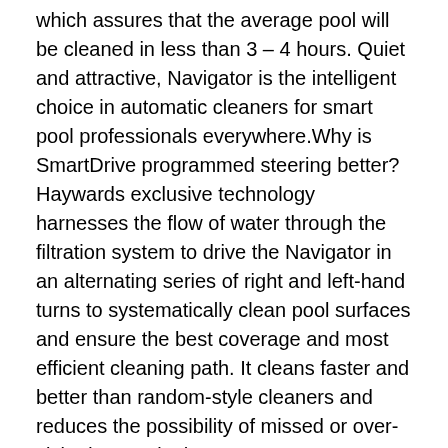which assures that the average pool will be cleaned in less than 3 – 4 hours. Quiet and attractive, Navigator is the intelligent choice in automatic cleaners for smart pool professionals everywhere.Why is SmartDrive programmed steering better? Haywards exclusive technology harnesses the flow of water through the filtration system to drive the Navigator in an alternating series of right and left-hand turns to systematically clean pool surfaces and ensure the best coverage and most efficient cleaning path. It cleans faster and better than random-style cleaners and reduces the possibility of missed or over-visited zones in the pool.FeaturesExclusive SmartDrive programmed steering pattern ensures the entire pool is cleaned quickly and completelyUnique turbine/gearing system provides constant and balanced water flow assuring quiet operation and gentle movement across the pool bottom Wider cleaning path handles pollen, sand, twigs,